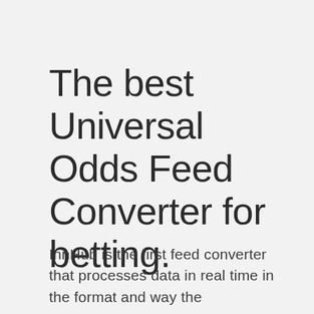The best Universal Odds Feed Converter for betting.
InnHub is the first feed converter that processes data in real time in the format and way the